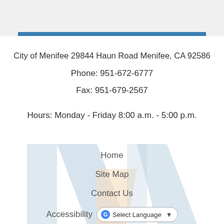City of Menifee 29844 Haun Road Menifee, CA 92586
Phone: 951-672-6777
Fax: 951-679-2567
Hours: Monday - Friday 8:00 a.m. - 5:00 p.m.
Home
Site Map
Contact Us
Accessibility
Copyright Notices